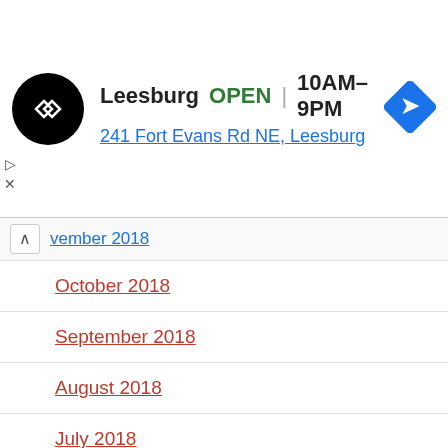[Figure (infographic): Advertisement banner for a store location. Shows a black circular logo with white double arrows, store name 'Leesburg', status 'OPEN', hours '10AM–9PM', address '241 Fort Evans Rd NE, Leesburg', and a blue diamond navigation arrow icon.]
vember 2018
October 2018
September 2018
August 2018
July 2018
June 2018
May 2018
April 2018